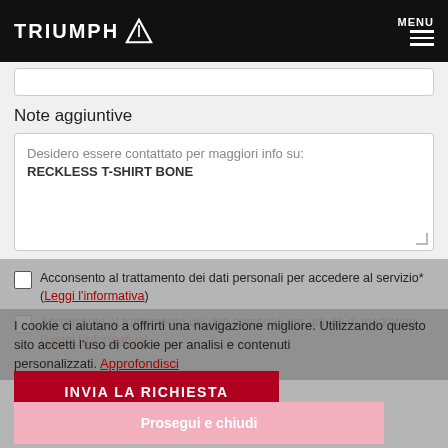TRIUMPH [logo] MENU
Note aggiuntive
Desidero essere contattato per maggiori info su:
RECKLESS T-SHIRT BONE
Acconsento al trattamento dei dati personali per accedere al servizio* (Leggi l’informativa)
Acconsento al trattamento dei dati personali per attività di marketing (Leggi l’informativa)
I cookie ci aiutano a offrirti una navigazione migliore. Utilizzando questo sito accetti l’uso di cookie per analisi e contenuti personalizzati. Approfondisci
INVIA LA RICHIESTA
Prosegui e chiudi